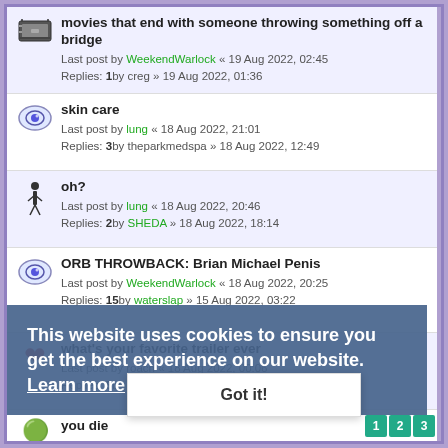movies that end with someone throwing something off a bridge
Last post by WeekendWarlock « 19 Aug 2022, 02:45
Replies: 1by creg » 19 Aug 2022, 01:36
skin care
Last post by lung « 18 Aug 2022, 21:01
Replies: 3by theparkmedspa » 18 Aug 2022, 12:49
oh?
Last post by lung « 18 Aug 2022, 20:46
Replies: 2by SHEDA » 18 Aug 2022, 18:14
ORB THROWBACK: Brian Michael Penis
Last post by WeekendWarlock « 18 Aug 2022, 20:25
Replies: 15by waterslap » 15 Aug 2022, 03:22
what's your favorite trailer ever
Last post by roach « 18 Aug 2022, 00:06
Replies: 5by lute » 17 Aug 2022, 19:05
you die
Last post by roach « 18 Aug 2022, 00:02
Replies: 0
Brian Michael Penis
Last post by roach « 17 Aug 2022, 23:56
Replies: 62by PaulRuddIsReal » 14 Feb 2021, 04:10
This website uses cookies to ensure you get the best experience on our website. Learn more
Got it!